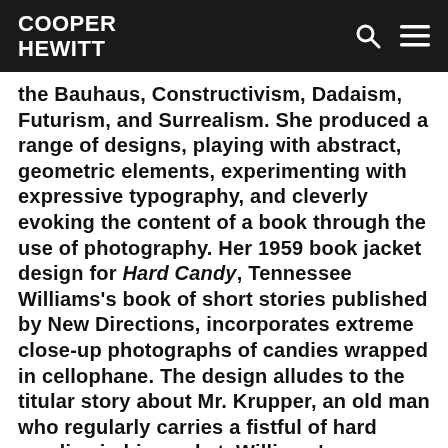COOPER HEWITT
the Bauhaus, Constructivism, Dadaism, Futurism, and Surrealism. She produced a range of designs, playing with abstract, geometric elements, experimenting with expressive typography, and cleverly evoking the content of a book through the use of photography. Her 1959 book jacket design for Hard Candy, Tennessee Williams's book of short stories published by New Directions, incorporates extreme close-up photographs of candies wrapped in cellophane. The design alludes to the titular story about Mr. Krupper, an old man who regularly carries a fistful of hard candies in his pocket. Williams's compelling language captures Mr. Krupper's private, thrilling moments in the Joy Rio cinema, where he regularly offers his candies to a mysterious, handsome boy.